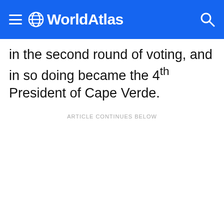WorldAtlas
in the second round of voting, and in so doing became the 4th President of Cape Verde.
ARTICLE CONTINUES BELOW